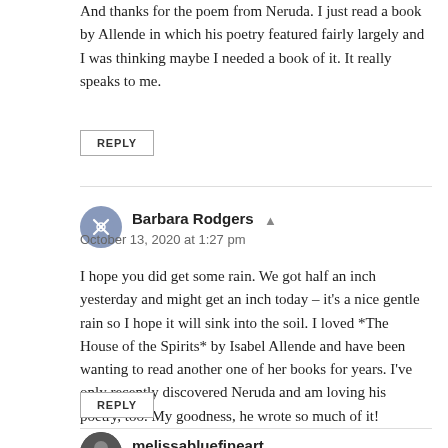And thanks for the poem from Neruda. I just read a book by Allende in which his poetry featured fairly largely and I was thinking maybe I needed a book of it. It really speaks to me.
REPLY
Barbara Rodgers
October 13, 2020 at 1:27 pm
I hope you did get some rain. We got half an inch yesterday and might get an inch today – it's a nice gentle rain so I hope it will sink into the soil. I loved *The House of the Spirits* by Isabel Allende and have been wanting to read another one of her books for years. I've only recently discovered Neruda and am loving his poetry, too. My goodness, he wrote so much of it!
REPLY
melissabluefineart